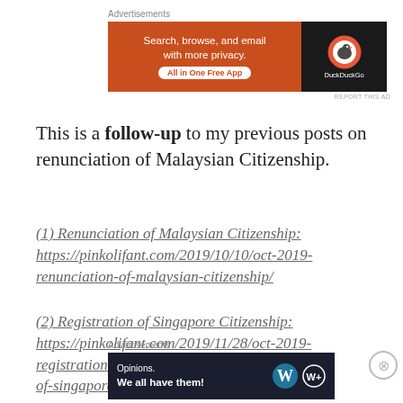[Figure (screenshot): DuckDuckGo advertisement banner: orange section with text 'Search, browse, and email with more privacy. All in One Free App' and dark section with DuckDuckGo logo]
This is a follow-up to my previous posts on renunciation of Malaysian Citizenship.
(1) Renunciation of Malaysian Citizenship:
https://pinkolifant.com/2019/10/10/oct-2019-renunciation-of-malaysian-citizenship/
(2) Registration of Singapore Citizenship:
https://pinkolifant.com/2019/11/28/oct-2019-registration-of-singapore-citizenship-at-ica/
[Figure (screenshot): WordPress advertisement banner on dark background: 'Opinions. We all have them!' with WordPress W logo and another circular logo]